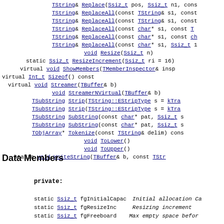TString& Replace(Ssiz_t pos, Ssiz_t n1, const
TString& ReplaceAll(const TString& s1, const
TString& ReplaceAll(const TString& s1, const
TString& ReplaceAll(const char* s1, const T
TString& ReplaceAll(const char* s1, const ch
TString& ReplaceAll(const char* s1, Ssiz_t
void Resize(Ssiz_t n)
static Ssiz_t ResizeIncrement(Ssiz_t ri = 16)
virtual void ShowMembers(TMemberInspector& insp
virtual Int_t Sizeof() const
virtual void Streamer(TBuffer& b)
void StreamerNVirtual(TBuffer& b)
TSubString Strip(TString::EStripType s = kTra
TSubString Strip(TString::EStripType s = kTra
TSubString SubString(const char* pat, Ssiz_t s
TSubString SubString(const char* pat, Ssiz_t s
TObjArray* Tokenize(const TString& delim) cons
void ToLower()
void ToUpper()
static void WriteString(TBuffer& b, const TStr
Data Members
private:
| static | type | name | description |
| --- | --- | --- | --- |
| static | Ssiz_t | fgInitialCapac | Initial allocation Ca |
| static | Ssiz_t | fgResizeInc | Resizing increment |
| static | Ssiz_t | fgFreeboard | Max empty space befor |